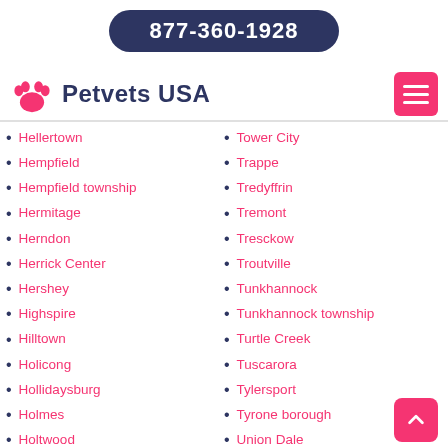877-360-1928
Petvets USA
Hellertown
Hempfield
Hempfield township
Hermitage
Herndon
Herrick Center
Hershey
Highspire
Hilltown
Holicong
Hollidaysburg
Holmes
Holtwood
Tower City
Trappe
Tredyffrin
Tremont
Tresckow
Troutville
Tunkhannock
Tunkhannock township
Turtle Creek
Tuscarora
Tylersport
Tyrone borough
Union Dale